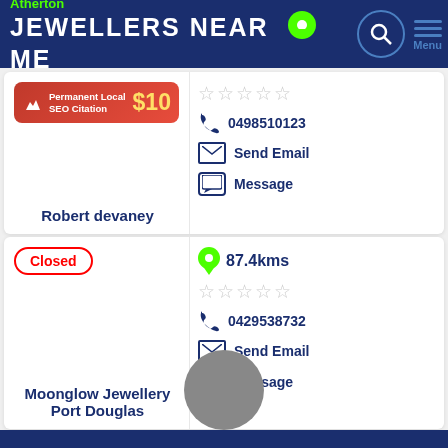Atherton JEWELLERS NEAR ME
[Figure (infographic): SEO citation ad banner: Permanent Local SEO Citation $10]
Robert devaney
0498510123
Send Email
Message
Closed
87.4kms
0429538732
Send Email
Message
Moonglow Jewellery Port Douglas